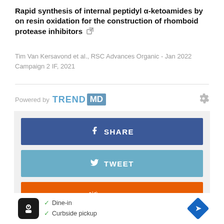Rapid synthesis of internal peptidyl α-ketoamides by on resin oxidation for the construction of rhomboid protease inhibitors
Tim Van Kersavond et al., RSC Advances Organic - Jan 2022
Campaign 2 IF, 2021
[Figure (screenshot): TrendMD powered-by widget with gear icon, followed by social share buttons: Facebook SHARE (blue), Twitter TWEET (light blue), Reddit REDDIT (orange), Email EMAIL (teal), and an advertisement block showing a restaurant icon with Dine-in and Curbside pickup checkmarks and a navigation arrow.]